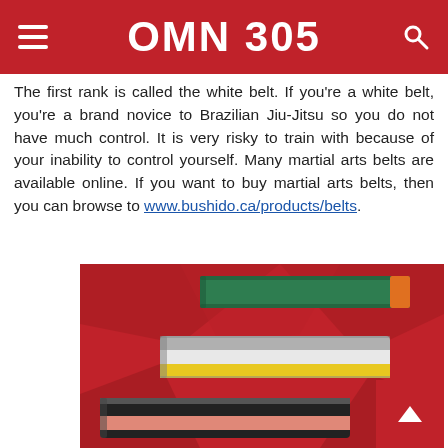OMN 305
The first rank is called the white belt. If you're a white belt, you're a brand novice to Brazilian Jiu-Jitsu so you do not have much control. It is very risky to train with because of your inability to control yourself. Many martial arts belts are available online. If you want to buy martial arts belts, then you can browse to www.bushido.ca/products/belts.
[Figure (photo): Folded martial arts belts in various colors (green, orange, gray, yellow, white, black, pink) on a red geometric background.]